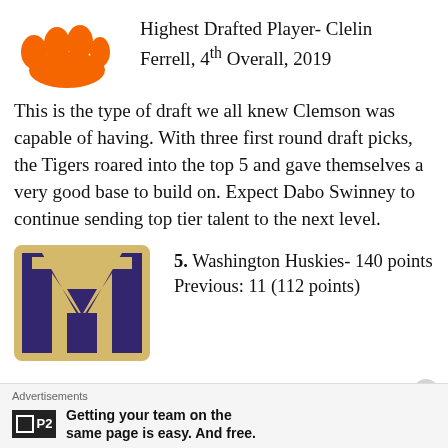[Figure (logo): Clemson Tigers orange paw logo in top left corner]
Highest Drafted Player- Clelin Ferrell, 4th Overall, 2019
This is the type of draft we all knew Clemson was capable of having. With three first round draft picks, the Tigers roared into the top 5 and gave themselves a very good base to build on. Expect Dabo Swinney to continue sending top tier talent to the next level.
[Figure (logo): Washington Huskies W logo in navy blue and gold]
5. Washington Huskies- 140 points
Previous: 11 (112 points)
Advertisements
Getting your team on the same page is easy. And free.